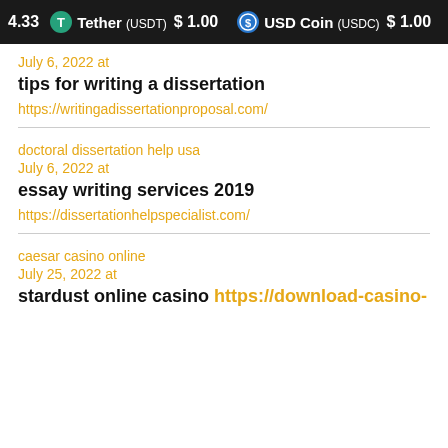4.33  Tether (USDT) $1.00  USD Coin (USDC) $1.00
July 6, 2022 at
tips for writing a dissertation
https://writingadissertationproposal.com/
doctoral dissertation help usa
July 6, 2022 at
essay writing services 2019
https://dissertationhelpspecialist.com/
caesar casino online
July 25, 2022 at
stardust online casino https://download-casino-